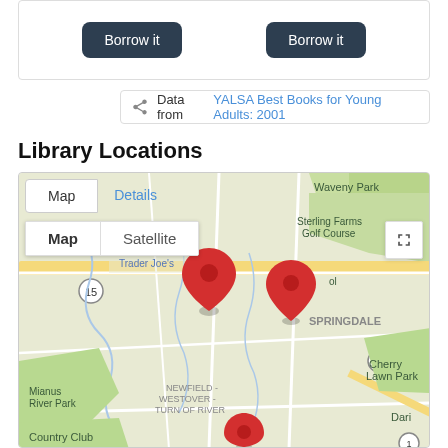Borrow it  Borrow it
Data from YALSA Best Books for Young Adults: 2001
Library Locations
[Figure (map): Google Maps view showing library locations in Stamford CT area with red map pins. Map shows Waveny Park, Sterling Farms Golf Course, Springdale, Newfield-Westover-Turn of River, Mianus River Park, Cherry Lawn Park, Country Club areas. Two red location pins visible in center, one partially visible at bottom. Map/Satellite toggle and fullscreen button visible. Tab row shows Map (active) and Details tabs.]